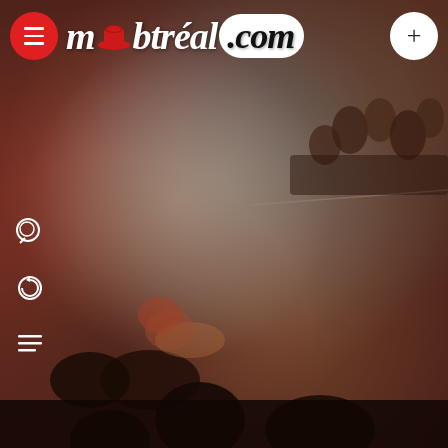[Figure (photo): Background concert/performance scene photo showing performers on a stage floor with colorful smoke/haze lighting, audience watching from upper right, silhouettes of viewers in foreground]
mŏbtréal.com
[Figure (other): Three small circular/icon UI elements on the left side: a search/chat icon, a circular arrow icon, and a list/menu icon]